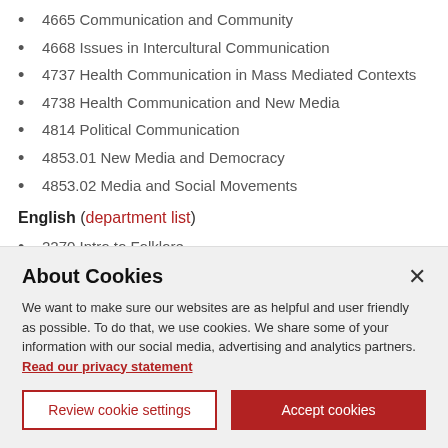4665 Communication and Community
4668 Issues in Intercultural Communication
4737 Health Communication in Mass Mediated Contexts
4738 Health Communication and New Media
4814 Political Communication
4853.01 New Media and Democracy
4853.02 Media and Social Movements
English (department list)
2270 Intro to Folklore
2277 Introduction to Disability Studies
About Cookies
We want to make sure our websites are as helpful and user friendly as possible. To do that, we use cookies. We share some of your information with our social media, advertising and analytics partners. Read our privacy statement